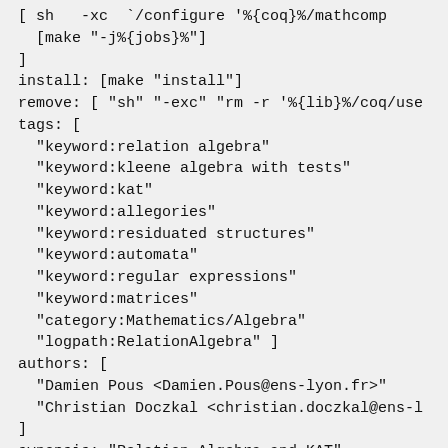[ sh   -xc  "/configure '%{coq}%/mathcomp
  [make "-j%{jobs}%"]
]
install: [make "install"]
remove: [ "sh" "-exc" "rm -r '%{lib}%/coq/use
tags: [
  "keyword:relation algebra"
  "keyword:kleene algebra with tests"
  "keyword:kat"
  "keyword:allegories"
  "keyword:residuated structures"
  "keyword:automata"
  "keyword:regular expressions"
  "keyword:matrices"
  "category:Mathematics/Algebra"
  "logpath:RelationAlgebra" ]
authors: [
  "Damien Pous <Damien.Pous@ens-lyon.fr>"
  "Christian Doczkal <christian.doczkal@ens-l
]
synopsis: "Relation Algebra and KAT"
description: